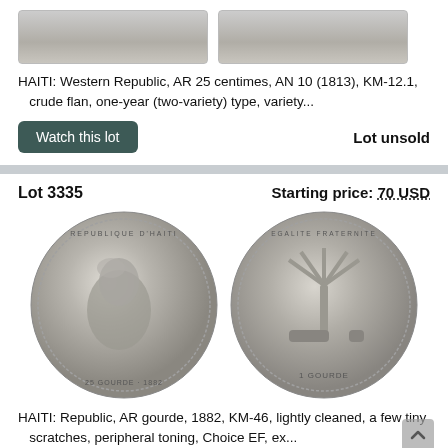[Figure (photo): Two coin images (obverse and reverse) of Haiti Western Republic AR 25 centimes, partially visible at top]
HAITI: Western Republic, AR 25 centimes, AN 10 (1813), KM-12.1, crude flan, one-year (two-variety) type, variety...
Watch this lot
Lot unsold
Lot 3335
Starting price: 70 USD
[Figure (photo): Two silver coin images of Haiti Republic AR gourde 1882 — obverse showing profile portrait with text REPUBLIQUE D'HAITI 25 GOURDE 1882, reverse showing palm tree and cannon with 1 GOURDE]
HAITI: Republic, AR gourde, 1882, KM-46, lightly cleaned, a few tiny scratches, peripheral toning, Choice EF, ex...